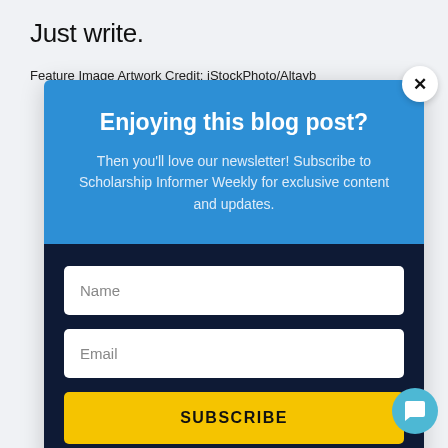Just write.
Feature Image Artwork Credit: iStockPhoto/Altayb
[Figure (screenshot): Newsletter subscription modal popup with blue header section containing title 'Enjoying this blog post?' and subtitle text, dark navy bottom section with Name and Email input fields and a yellow SUBSCRIBE button, and a white close (×) button in the top-right corner of the modal.]